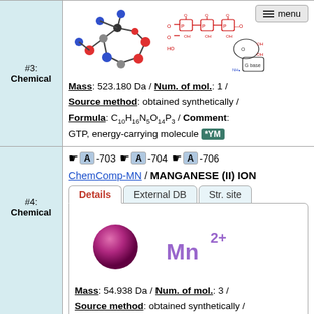[Figure (illustration): 3D molecular structure of GTP and 2D chemical structure diagram of GTP molecule, with a menu button in the top right]
Mass: 523.180 Da / Num. of mol.: 1 / Source method: obtained synthetically / Formula: C10H16N5O14P3 / Comment: GTP, energy-carrying molecule *YM
#4: Chemical
A -703  A -704  A -706  ChemComp-MN / MANGANESE (II) ION
[Figure (illustration): 3D sphere representation of Manganese ion (dark pink/magenta sphere) and 2D chemical formula Mn2+]
Mass: 54.938 Da / Num. of mol.: 3 / Source method: obtained synthetically / Formula: Mn
A -705  ChemComp-SPV / SULFOPYRUVATE